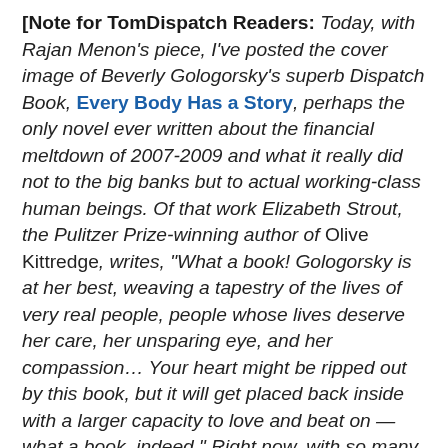[Note for TomDispatch Readers:] Today, with Rajan Menon's piece, I've posted the cover image of Beverly Gologorsky's superb Dispatch Book, Every Body Has a Story, perhaps the only novel ever written about the financial meltdown of 2007-2009 and what it really did not to the big banks but to actual working-class human beings. Of that work Elizabeth Strout, the Pulitzer Prize-winning author of Olive Kittredge, writes, "What a book! Gologorsky is at her best, weaving a tapestry of the lives of very real people, people whose lives deserve her care, her unsparing eye, and her compassion... Your heart might be ripped out by this book, but it will get placed back inside with a larger capacity to love and beat on — what a book, indeed." Right now, with so many of us in